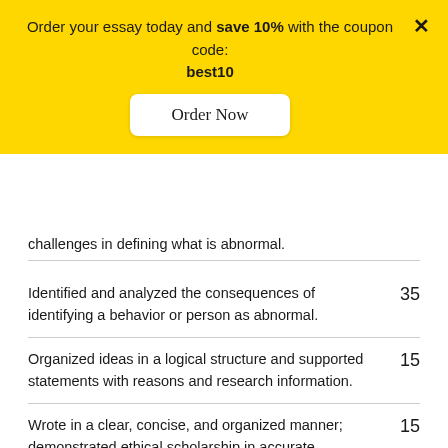Order your essay today and save 10% with the coupon code: best10
Order Now
challenges in defining what is abnormal.
| Description | Points |
| --- | --- |
| Identified and analyzed the consequences of identifying a behavior or person as abnormal. | 35 |
| Organized ideas in a logical structure and supported statements with reasons and research information. | 15 |
| Wrote in a clear, concise, and organized manner; demonstrated ethical scholarship in accurate representation and attribution of sources; displayed accurate spelling, grammar, and punctuation. | 15 |
| Total: | 100 |